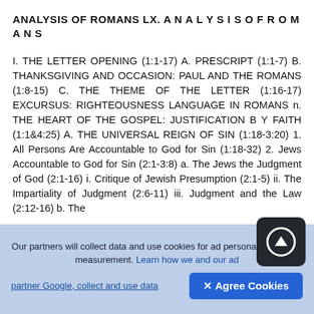ANALYSIS OF ROMANS LX. A N A L Y S I S O F R O M A N S
I. THE LETTER OPENING (1:1-17) A. PRESCRIPT (1:1-7) B. THANKSGIVING AND OCCASION: PAUL AND THE ROMANS (1:8-15) C. THE THEME OF THE LETTER (1:16-17) EXCURSUS: RIGHTEOUSNESS LANGUAGE IN ROMANS n. THE HEART OF THE GOSPEL: JUSTIFICATION B Y FAITH (1:1&4:25) A. THE UNIVERSAL REIGN OF SIN (1:18-3:20) 1. All Persons Are Accountable to God for Sin (1:18-32) 2. Jews Accountable to God for Sin (2:1-3:8) a. The Jews the Judgment of God (2:1-16) i. Critique of Jewish Presumption (2:1-5) ii. The Impartiality of Judgment (2:6-11) iii. Judgment and the Law (2:12-16) b. The
Our partners will collect data and use cookies for ad personalization and measurement. Learn how we and our ad partner Google, collect and use data
✕ Agree Cookies